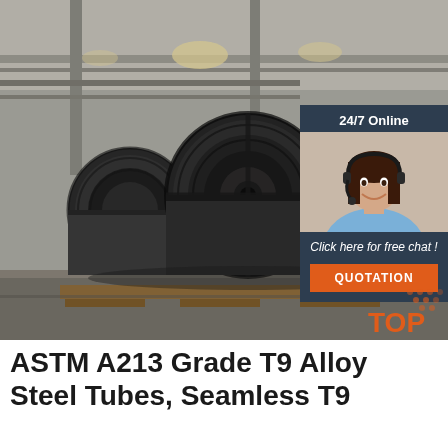[Figure (photo): Industrial warehouse with large steel coils stacked on wooden pallets, dimly lit interior with overhead lighting. An overlay card on the right shows a customer service representative with headset, '24/7 Online' label, 'Click here for free chat!' text, and an orange QUOTATION button.]
ASTM A213 Grade T9 Alloy Steel Tubes, Seamless T9